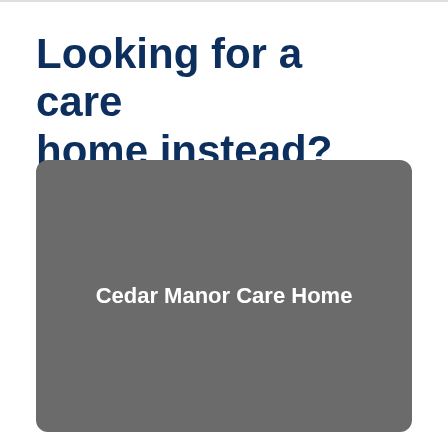Looking for a care home instead?
[Figure (photo): A grey placeholder image box with the text 'Cedar Manor Care Home' displayed in white bold text centered within it, with rounded corners.]